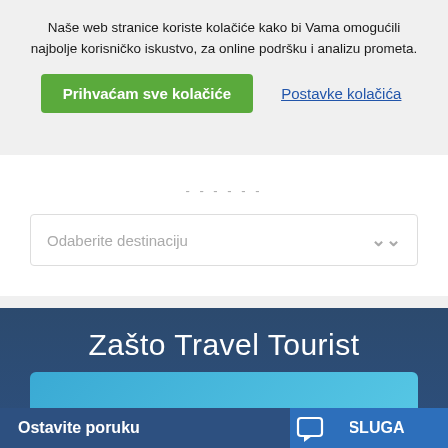Naše web stranice koriste kolačiće kako bi Vama omogućili najbolje korisničko iskustvo, za online podršku i analizu prometa.
Prihvaćam sve kolačiće
Postavke kolačića
Odaberite destinaciju
Zašto Travel Tourist
Ostavite poruku
ISLUGA